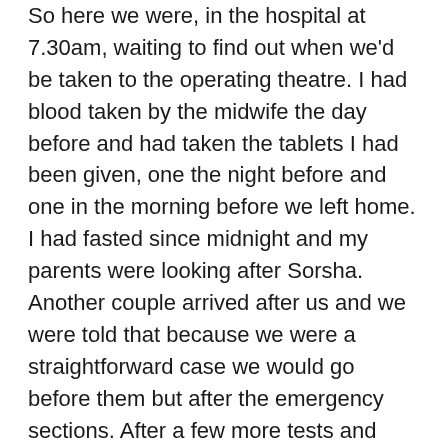So here we were, in the hospital at 7.30am, waiting to find out when we'd be taken to the operating theatre. I had blood taken by the midwife the day before and had taken the tablets I had been given, one the night before and one in the morning before we left home. I had fasted since midnight and my parents were looking after Sorsha. Another couple arrived after us and we were told that because we were a straightforward case we would go before them but after the emergency sections. After a few more tests and conversations with the midwife, anaesthetist and surgeon, I was told to change into a gown and, a few hours after we arrived, we walked down to theatre!